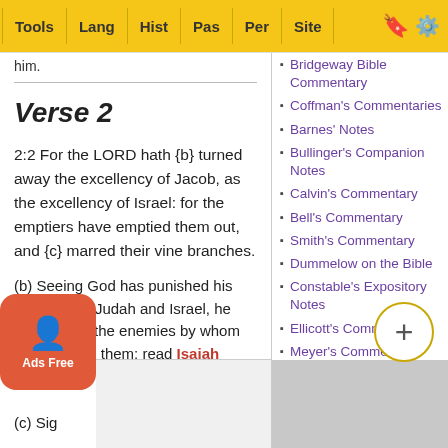Tools | Lang | Hist | Pas | Per | Site
him.
Verse 2
2:2 For the LORD hath {b} turned away the excellency of Jacob, as the excellency of Israel: for the emptiers have emptied them out, and {c} marred their vine branches.
(b) Seeing God has punished his own people Judah and Israel, he now punish the enemies by whom he scourged them; read Isaiah 10:12
(c) Sig
Bridgeway Bible Commentary
Coffman's Commentaries
Barnes' Notes
Bullinger's Companion Notes
Calvin's Commentary
Bell's Commentary
Smith's Commentary
Dummelow on the Bible
Constable's Expository Notes
Ellicott's Commentary
Meyer's Commentary
Gaebelein's Annotated
Morgan's Exposition